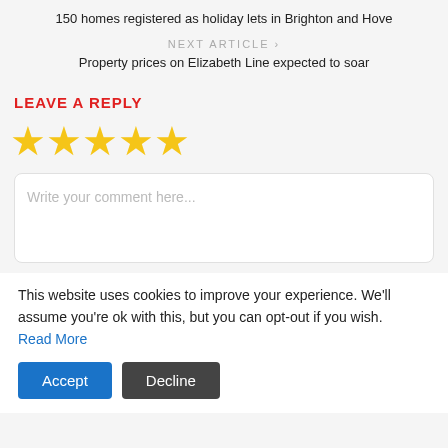150 homes registered as holiday lets in Brighton and Hove
NEXT ARTICLE >
Property prices on Elizabeth Line expected to soar
LEAVE A REPLY
[Figure (other): Five yellow star rating icons]
Write your comment here...
This website uses cookies to improve your experience. We'll assume you're ok with this, but you can opt-out if you wish.
Read More
Accept
Decline